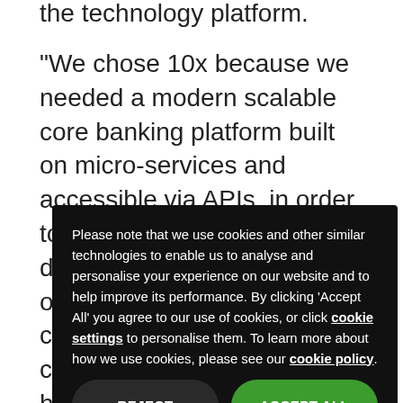the technology platform.
“We chose 10x because we needed a modern scalable core banking platform built on micro-services and accessible via APIs, in order to drive rapid product development and to provide our customers with a world class experience. This collaboration ensures we have the right technology in place to meet changing customer needs now and into the future.”
E... d... b... p... h...
J... in... m...
work jointly with Chase to deliver the modern and scalable banking platform that will help it realise its
Please note that we use cookies and other similar technologies to enable us to analyse and personalise your experience on our website and to help improve its performance. By clicking ‘Accept All’ you agree to our use of cookies, or click cookie settings to personalise them. To learn more about how we use cookies, please see our cookie policy.